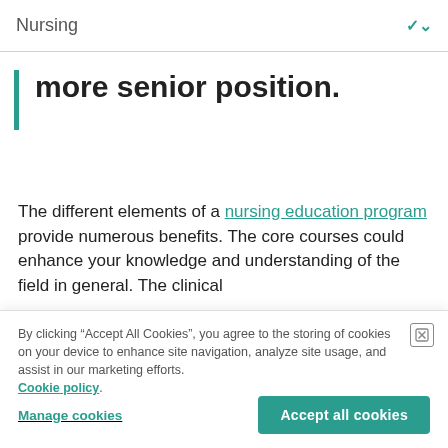Nursing
more senior position.
The different elements of a nursing education program provide numerous benefits. The core courses could enhance your knowledge and understanding of the field in general. The clinical
By clicking “Accept All Cookies”, you agree to the storing of cookies on your device to enhance site navigation, analyze site usage, and assist in our marketing efforts. Cookie policy.
Manage cookies
Accept all cookies